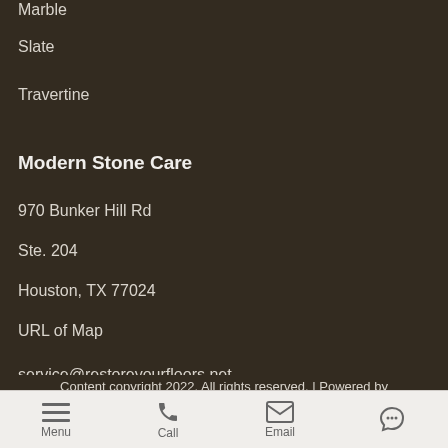Marble
Slate
Travertine
Modern Stone Care
970 Bunker Hill Rd
Ste. 204
Houston, TX 77024
URL of Map
Phone: (832) 814-2041
service@restoreyourfloors.net
Content copyright 2022. All rights reserved. | Powered by
Menu  Call  Email